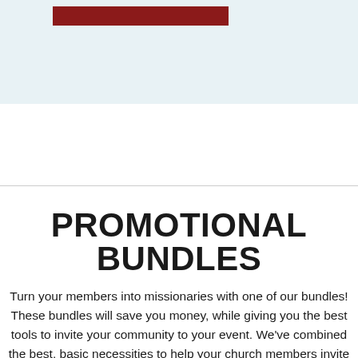[Figure (other): Light blue banner area with a dark red/crimson rectangular bar near the top left]
PROMOTIONAL BUNDLES
Turn your members into missionaries with one of our bundles! These bundles will save you money, while giving you the best tools to invite your community to your event. We've combined the best, basic necessities to help your church members invite their friends, co-workers, and circle of influence. Need help deciding? Call our marketing experts at 1-800-525-5791.